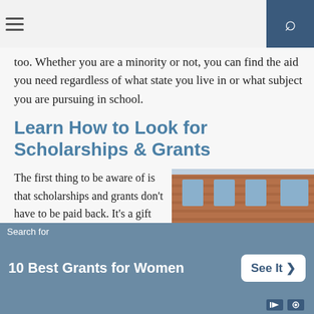too. Whether you are a minority or not, you can find the aid you need regardless of what state you live in or what subject you are pursuing in school.
Learn How to Look for Scholarships & Grants
The first thing to be aware of is that scholarships and grants don't have to be paid back. It's a gift for you to enjoy if you are awarded the money. The amount can vary from about $100 all the way to a full scholarship, which typically will cover all of your tui...
[Figure (photo): Young female student smiling, carrying books and a backpack, standing outside a brick building with shrubs in the background.]
Search for
10 Best Grants for Women
See It >